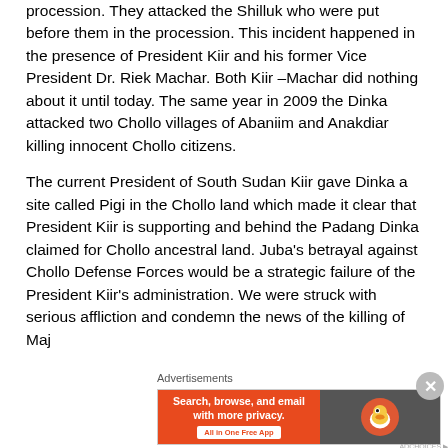procession. They attacked the Shilluk who were put before them in the procession. This incident happened in the presence of President Kiir and his former Vice President Dr. Riek Machar. Both Kiir –Machar did nothing about it until today. The same year in 2009 the Dinka attacked two Chollo villages of Abaniim and Anakdiar killing innocent Chollo citizens.
The current President of South Sudan Kiir gave Dinka a site called Pigi in the Chollo land which made it clear that President Kiir is supporting and behind the Padang Dinka claimed for Chollo ancestral land. Juba's betrayal against Chollo Defense Forces would be a strategic failure of the President Kiir's administration. We were struck with serious affliction and condemn the news of the killing of Maj...
Advertisements
[Figure (other): DuckDuckGo advertisement banner: orange left section with text 'Search, browse, and email with more privacy. All in One Free App' and grey right section with DuckDuckGo duck logo]